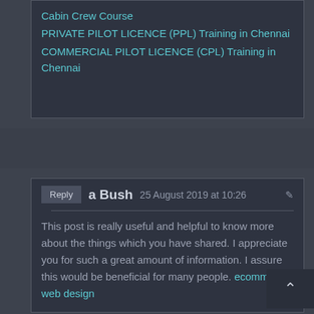Cabin Crew Course
PRIVATE PILOT LICENCE (PPL) Training in Chennai
COMMERCIAL PILOT LICENCE (CPL) Training in Chennai
a Bush   25 August 2019 at 10:26
This post is really useful and helpful to know more about the things which you have shared. I appreciate you for such a great amount of information. I assure this would be beneficial for many people. ecommerce web design